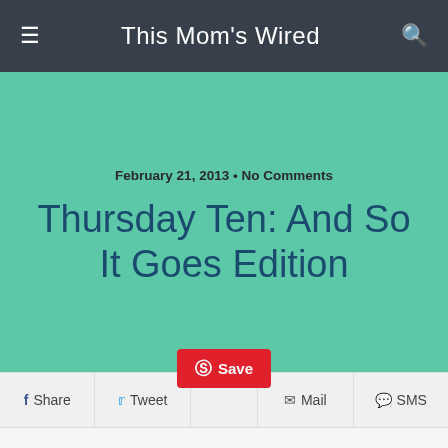This Mom's Wired
February 21, 2013 • No Comments
Thursday Ten: And So It Goes Edition
Share  Tweet  Save  Mail  SMS
1. Just when I had been panicked about the fact that I only had a little over a week left of full time work, it was extended another month. While I hesitate to write too much about my job situation in my blog – I have been (understandably, I think) stressed about the thought of